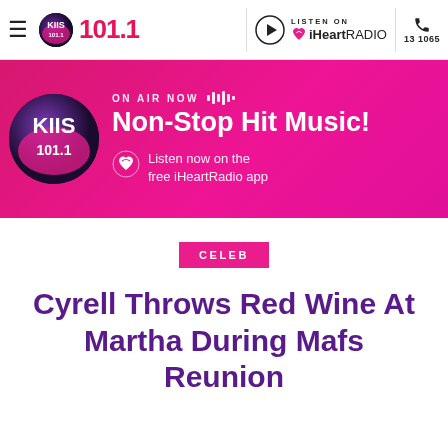KIIS 101.1 | LISTEN ON iHeartRADIO | 131065
[Figure (screenshot): Pink on-air banner with KIIS 101.1 logo, ON AIR NOW label with soundwave icon, 'Non-Stop Hit Music!' heading, iHeartRadio heart icon and 'Listen now on the free iHeartRadio app' text]
CELEB
Cyrell Throws Red Wine At Martha During Mafs Reunion